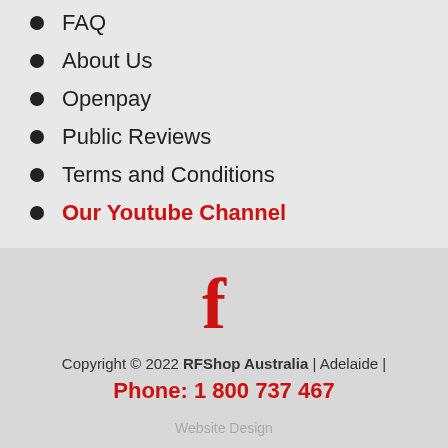FAQ
About Us
Openpay
Public Reviews
Terms and Conditions
Our Youtube Channel
[Figure (logo): Facebook 'f' logo icon in red]
Copyright © 2022 RFShop Australia | Adelaide |
Phone: 1 800 737 467
Website Design